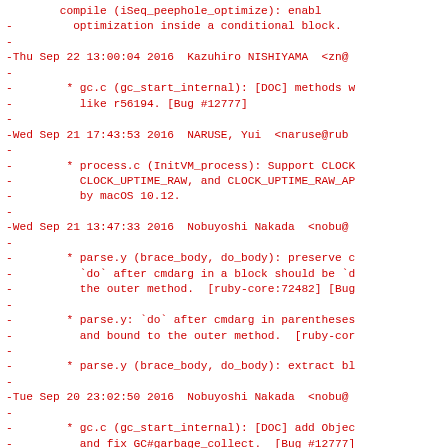compile (iSeq_peephole_optimize): enable optimization inside a conditional block.
-
-Thu Sep 22 13:00:04 2016  Kazuhiro NISHIYAMA  <zn@
-
-        * gc.c (gc_start_internal): [DOC] methods w
-          like r56194. [Bug #12777]
-
-Wed Sep 21 17:43:53 2016  NARUSE, Yui  <naruse@rub
-
-        * process.c (InitVM_process): Support CLOCK
-          CLOCK_UPTIME_RAW, and CLOCK_UPTIME_RAW_AP
-          by macOS 10.12.
-
-Wed Sep 21 13:47:33 2016  Nobuyoshi Nakada  <nobu@
-
-        * parse.y (brace_body, do_body): preserve c
-          `do` after cmdarg in a block should be `d
-          the outer method.  [ruby-core:72482] [Bug
-
-        * parse.y: `do` after cmdarg in parentheses
-          and bound to the outer method.  [ruby-cor
-
-        * parse.y (brace_body, do_body): extract bl
-
-Tue Sep 20 23:02:50 2016  Nobuyoshi Nakada  <nobu@
-
-        * gc.c (gc_start_internal): [DOC] add Objec
-          and fix GC#garbage_collect.  [Bug #12777]
-
- Tue Sep 20 21:24:01 2016  Kazuhiro NISHIYAMA  <zn@